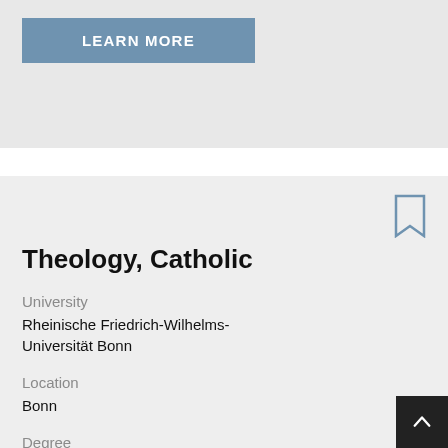LEARN MORE
Theology, Catholic
University
Rheinische Friedrich-Wilhelms-Universität Bonn
Location
Bonn
Degree